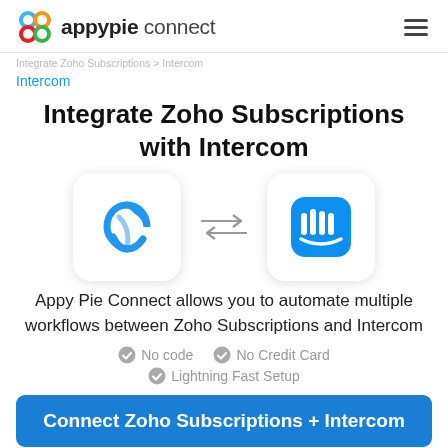appypie connect
Integrate Zoho Subscriptions > Intercom
Intercom
Integrate Zoho Subscriptions with Intercom
[Figure (logo): Zoho Subscriptions logo (blue circular interlocking shape) and Intercom logo (blue rounded rectangle with vertical white bars), connected by bidirectional arrows]
Appy Pie Connect allows you to automate multiple workflows between Zoho Subscriptions and Intercom
No code  No Credit Card
Lightning Fast Setup
Connect Zoho Subscriptions + Intercom